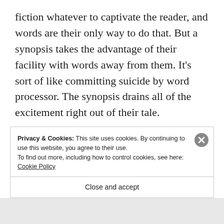fiction whatever to captivate the reader, and words are their only way to do that. But a synopsis takes the advantage of their facility with words away from them. It's sort of like committing suicide by word processor. The synopsis drains all of the excitement right out of their tale.
Writers who favor short stories are at a great
Privacy & Cookies: This site uses cookies. By continuing to use this website, you agree to their use.
To find out more, including how to control cookies, see here: Cookie Policy
Close and accept